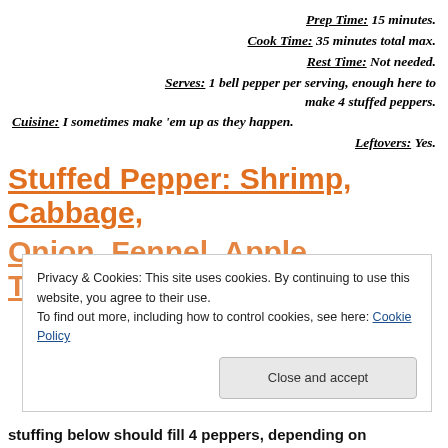Prep Time:  15 minutes.
Cook Time: 35 minutes total max.
Rest Time:  Not needed.
Serves:  1 bell pepper per serving, enough here to make 4 stuffed peppers.
Cuisine: I sometimes make 'em up as they happen.
Leftovers: Yes.
Stuffed Pepper:  Shrimp, Cabbage,
Onion, Fennel, Apple, Tomato...
Privacy & Cookies: This site uses cookies. By continuing to use this website, you agree to their use.
To find out more, including how to control cookies, see here: Cookie Policy
stuffing below should fill 4 peppers, depending on